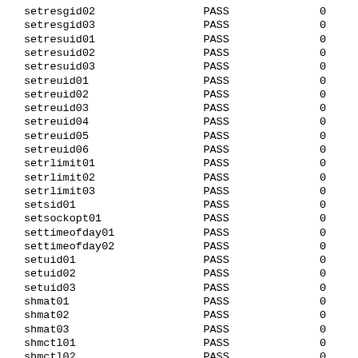| setresgid02 | PASS | 0 |
| setresgid03 | PASS | 0 |
| setresuid01 | PASS | 0 |
| setresuid02 | PASS | 0 |
| setresuid03 | PASS | 0 |
| setreuid01 | PASS | 0 |
| setreuid02 | PASS | 0 |
| setreuid03 | PASS | 0 |
| setreuid04 | PASS | 0 |
| setreuid05 | PASS | 0 |
| setreuid06 | PASS | 0 |
| setrlimit01 | PASS | 0 |
| setrlimit02 | PASS | 0 |
| setrlimit03 | PASS | 0 |
| setsid01 | PASS | 0 |
| setsockopt01 | PASS | 0 |
| settimeofday01 | PASS | 0 |
| settimeofday02 | PASS | 0 |
| setuid01 | PASS | 0 |
| setuid02 | PASS | 0 |
| setuid03 | PASS | 0 |
| shmat01 | PASS | 0 |
| shmat02 | PASS | 0 |
| shmat03 | PASS | 0 |
| shmctl01 | PASS | 0 |
| shmctl02 | PASS | 0 |
| shmctl03 | PASS | 0 |
| shmctl04 | PASS | 0 |
| shmdt01 | PASS | 0 |
| shmdt02 | PASS | 0 |